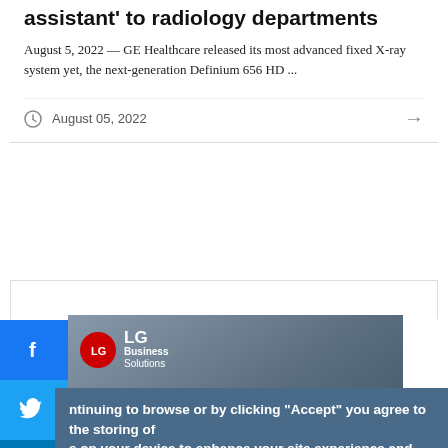assistant' to radiology departments
August 5, 2022 — GE Healthcare released its most advanced fixed X-ray system yet, the next-generation Definium 656 HD ...
August 05, 2022
[Figure (screenshot): LG Business Solutions advertisement banner showing medical imaging equipment on a dark background]
ntinuing to browse or by clicking "Accept" you agree to the storing of s on your device to enhance your site experience and for analytical marketing purposes.
n more about how we use cookies, please see our cookie policy.
OK, I agree    No, thanks